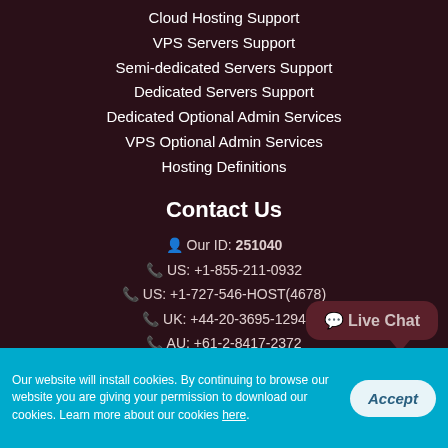Cloud Hosting Support
VPS Servers Support
Semi-dedicated Servers Support
Dedicated Servers Support
Dedicated Optional Admin Services
VPS Optional Admin Services
Hosting Definitions
Contact Us
Our ID: 251040
US: +1-855-211-0932
US: +1-727-546-HOST(4678)
UK: +44-20-3695-1294
AU: +61-2-8417-2372
Live Chat
Our website will install cookies. By continuing to browse our website you are giving your permission to download our cookies. Learn more about our cookies here.